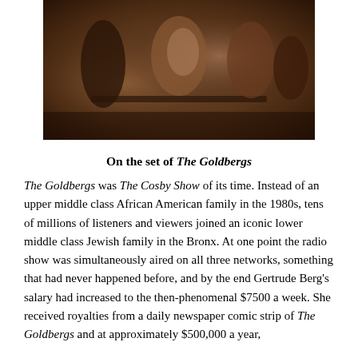[Figure (photo): Black and white sepia photograph of people on the set of The Goldbergs, sitting around a table]
On the set of The Goldbergs
The Goldbergs was The Cosby Show of its time. Instead of an upper middle class African American family in the 1980s, tens of millions of listeners and viewers joined an iconic lower middle class Jewish family in the Bronx. At one point the radio show was simultaneously aired on all three networks, something that had never happened before, and by the end Gertrude Berg's salary had increased to the then-phenomenal $7500 a week. She received royalties from a daily newspaper comic strip of The Goldbergs and at approximately $500,000 a year,